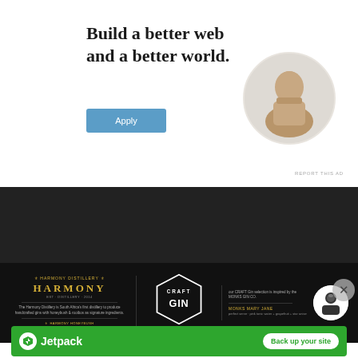Build a better web and a better world.
[Figure (photo): Apply button for web job advertisement]
[Figure (photo): Circular portrait of a man thinking at a desk]
REPORT THIS AD
[Figure (advertisement): Black banner ad featuring Harmony Distillery and Craft Gin with Monks Mary Jane section]
Advertisements
[Figure (advertisement): Jetpack green banner ad with 'Back up your site' button]